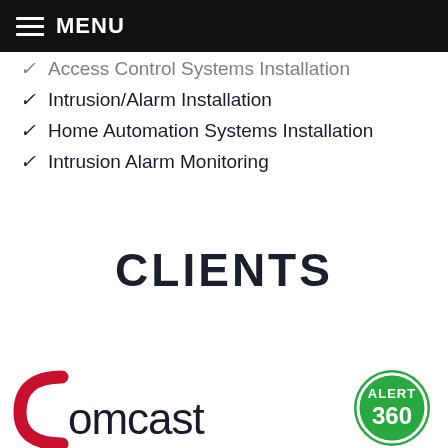MENU
Access Control Systems Installation
Intrusion/Alarm Installation
Home Automation Systems Installation
Intrusion Alarm Monitoring
CLIENTS
[Figure (logo): Comcast logo with red arc and lowercase text]
[Figure (logo): Alert 360 circular green badge logo]